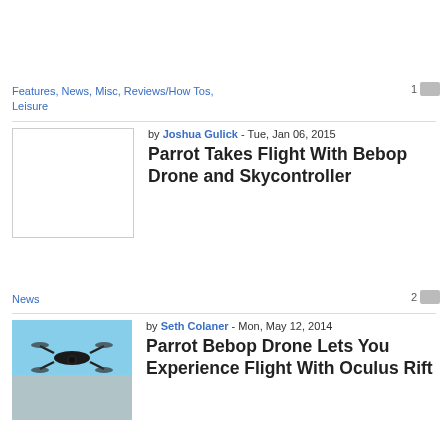Features, News, Misc, Reviews/How Tos, Leisure
1
by Joshua Gulick - Tue, Jan 06, 2015
Parrot Takes Flight With Bebop Drone and Skycontroller
[Figure (photo): Blank white placeholder thumbnail image]
News
2
by Seth Colaner - Mon, May 12, 2014
Parrot Bebop Drone Lets You Experience Flight With Oculus Rift
[Figure (photo): Photo of a Parrot Bebop drone flying over a beach/coastal scene with blue sky]